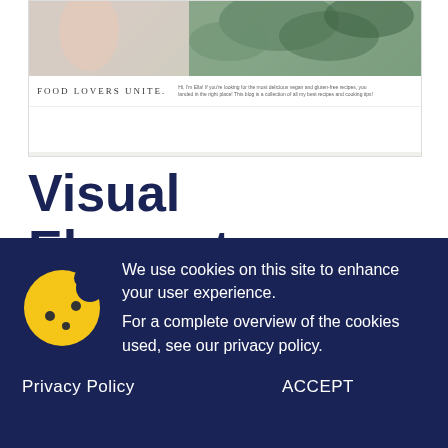[Figure (screenshot): Screenshot of a food blog website showing a banner image with green leafy vegetables and a white strip with 'FOOD LOVERS UNITE.' text and a short description paragraph.]
Visual Elementor theme builder in Pro only
We use cookies on this site to enhance your user experience.
For a complete overview of the cookies used, see our privacy policy.
Privacy Policy
ACCEPT